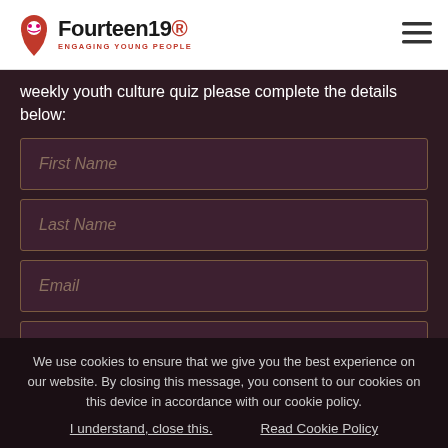Fourteen19® ENGAGING YOUNG PEOPLE
weekly youth culture quiz please complete the details below:
First Name
Last Name
Email
Organisation
We use cookies to ensure that we give you the best experience on our website. By closing this message, you consent to our cookies on this device in accordance with our cookie policy.
I understand, close this.   Read Cookie Policy